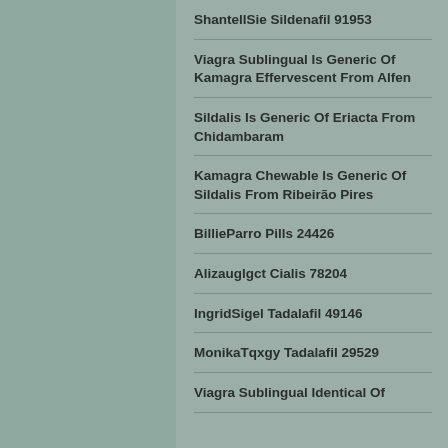ShantellSie Sildenafil 91953
Viagra Sublingual Is Generic Of Kamagra Effervescent From Alfen
Sildalis Is Generic Of Eriacta From Chidambaram
Kamagra Chewable Is Generic Of Sildalis From Ribeirão Pires
BillieParro Pills 24426
Alizauglgct Cialis 78204
IngridSigel Tadalafil 49146
MonikaTqxgy Tadalafil 29529
Viagra Sublingual Identical Of